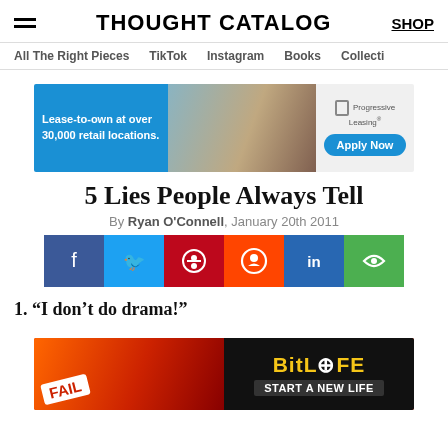THOUGHT CATALOG  SHOP
All The Right Pieces  TikTok  Instagram  Books  Collecti
[Figure (photo): Progressive Leasing banner ad: Lease-to-own at over 30,000 retail locations. Apply Now button. Couple looking at phone.]
5 Lies People Always Tell
By Ryan O'Connell, January 20th 2011
[Figure (infographic): Social sharing buttons: Facebook, Twitter, Pinterest, Reddit, LinkedIn, Chat/Comment]
1. “I don’t do drama!”
[Figure (photo): BitLife - Start A New Life advertisement banner with FAIL badge, fire and cartoon character.]